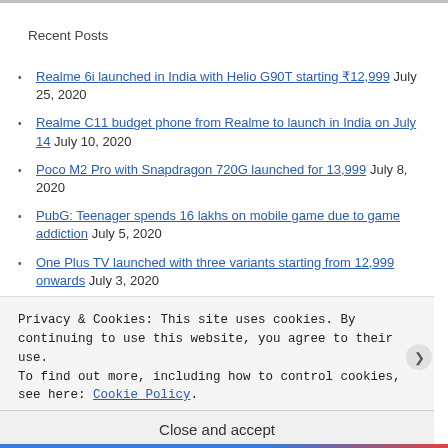Recent Posts
Realme 6i launched in India with Helio G90T starting ₹12,999 July 25, 2020
Realme C11 budget phone from Realme to launch in India on July 14 July 10, 2020
Poco M2 Pro with Snapdragon 720G launched for 13,999 July 8, 2020
PubG: Teenager spends 16 lakhs on mobile game due to game addiction July 5, 2020
One Plus TV launched with three variants starting from 12,999 onwards July 3, 2020
One Plus to launch three new mid range TVs in India – Know Price, Specs and Launch Date June 30, 2020
Privacy & Cookies: This site uses cookies. By continuing to use this website, you agree to their use. To find out more, including how to control cookies, see here: Cookie Policy
Close and accept